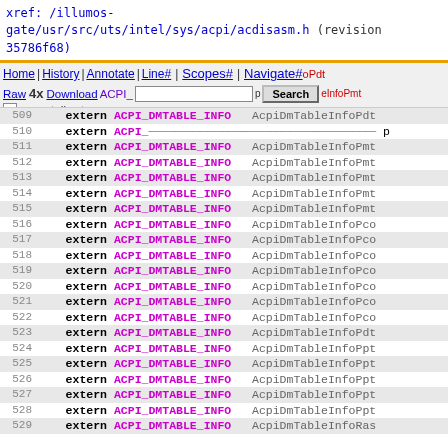xref: /illumos-gate/usr/src/uts/intel/sys/acpi/acdisasm.h (revision 35786f68)
Home | History | Annotate | Line# | Scopes# | Navigate# | Raw | Download | Search | current directory
509 extern ACPI_DMTABLE_INFO AcpiDmTableInfoPdt
510 extern ACPI_ p
511 extern ACPI_DMTABLE_INFO AcpiDmTableInfoPmt
512 extern ACPI_DMTABLE_INFO AcpiDmTableInfoPmt
513 extern ACPI_DMTABLE_INFO AcpiDmTableInfoPmt
514 extern ACPI_DMTABLE_INFO AcpiDmTableInfoPmt
515 extern ACPI_DMTABLE_INFO AcpiDmTableInfoPmt
516 extern ACPI_DMTABLE_INFO AcpiDmTableInfoPco
517 extern ACPI_DMTABLE_INFO AcpiDmTableInfoPco
518 extern ACPI_DMTABLE_INFO AcpiDmTableInfoPco
519 extern ACPI_DMTABLE_INFO AcpiDmTableInfoPco
520 extern ACPI_DMTABLE_INFO AcpiDmTableInfoPco
521 extern ACPI_DMTABLE_INFO AcpiDmTableInfoPco
522 extern ACPI_DMTABLE_INFO AcpiDmTableInfoPco
523 extern ACPI_DMTABLE_INFO AcpiDmTableInfoPdt
524 extern ACPI_DMTABLE_INFO AcpiDmTableInfoPpt
525 extern ACPI_DMTABLE_INFO AcpiDmTableInfoPpt
526 extern ACPI_DMTABLE_INFO AcpiDmTableInfoPpt
527 extern ACPI_DMTABLE_INFO AcpiDmTableInfoPpt
528 extern ACPI_DMTABLE_INFO AcpiDmTableInfoPpt
529 extern ACPI_DMTABLE_INFO AcpiDmTableInfoRas
530 extern ACPI_DMTABLE_INFO AcpiDmTableInfoRso
531 extern ACPI_DMTABLE_INFO AcpiDmTableInfoRso
532 extern ACPI_DMTABLE_INFO AcpiDmTableInfoS3p
533 extern ACPI_DMTABLE_INFO AcpiDmTableInfoS3p